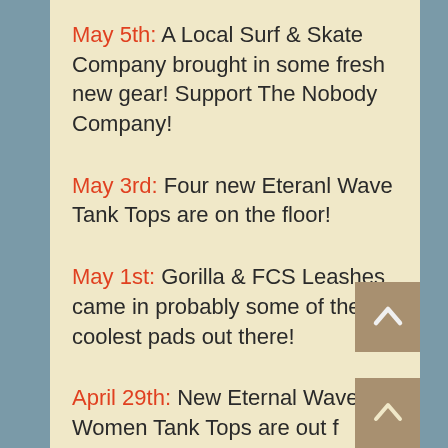May 5th: A Local Surf & Skate Company brought in some fresh new gear! Support The Nobody Company!
May 3rd: Four new Eteranl Wave Tank Tops are on the floor!
May 1st: Gorilla & FCS Leashes came in probably some of the coolest pads out there!
April 29th: New Eternal Wave Women Tank Tops are out f…